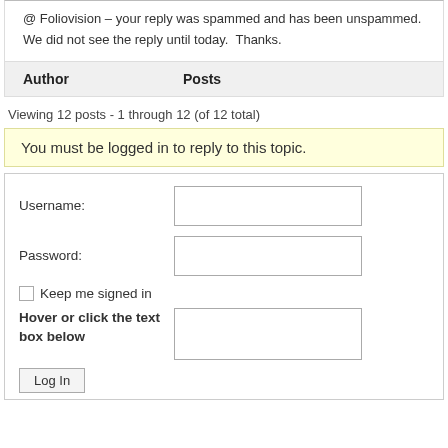@ Foliovision – your reply was spammed and has been unspammed.  We did not see the reply until today.  Thanks.
| Author | Posts |
| --- | --- |
Viewing 12 posts - 1 through 12 (of 12 total)
You must be logged in to reply to this topic.
Username:
Password:
Keep me signed in
Hover or click the text box below
Log In